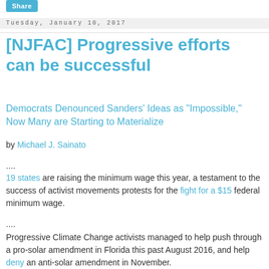[Figure (other): Share button, teal/blue colored]
Tuesday, January 10, 2017
[NJFAC] Progressive efforts can be successful
Democrats Denounced Sanders' Ideas as "Impossible," Now Many are Starting to Materialize
by Michael J. Sainato
....
19 states are raising the minimum wage this year, a testament to the success of activist movements protests for the fight for a $15 federal minimum wage.
....
Progressive Climate Change activists managed to help push through a pro-solar amendment in Florida this past August 2016, and help deny an anti-solar amendment in November.